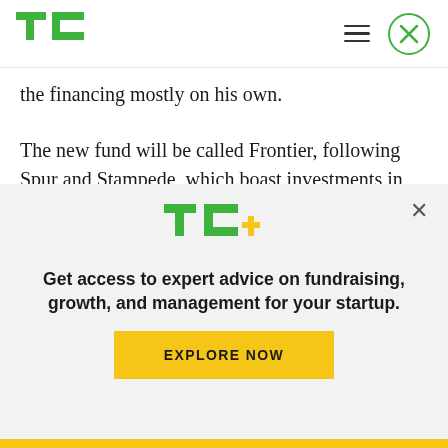TechCrunch logo header with hamburger menu and close button
the financing mostly on his own.
The new fund will be called Frontier, following Spur and Stampede, which boast investments in Uber, Optimizely, Stripe, Medium, StyleSeat and WordPress. Not all of Sacca's funds are cowboy-themed however. He very famously fooled Dan [text continues]
[Figure (logo): TechCrunch TC+ logo in green and yellow]
Get access to expert advice on fundraising, growth, and management for your startup.
EXPLORE NOW